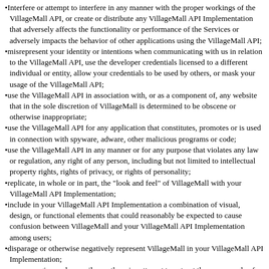•Interfere or attempt to interfere in any manner with the proper workings of the VillageMall API, or create or distribute any VillageMall API Implementation that adversely affects the functionality or performance of the Services or adversely impacts the behavior of other applications using the VillageMall API;
•misrepresent your identity or intentions when communicating with us in relation to the VillageMall API, use the developer credentials licensed to a different individual or entity, allow your credentials to be used by others, or mask your usage of the VillageMall API;
•use the VillageMall API in association with, or as a component of, any website that in the sole discretion of VillageMall is determined to be obscene or otherwise inappropriate;
•use the VillageMall API for any application that constitutes, promotes or is used in connection with spyware, adware, other malicious programs or code;
•use the VillageMall API in any manner or for any purpose that violates any law or regulation, any right of any person, including but not limited to intellectual property rights, rights of privacy, or rights of personality;
•replicate, in whole or in part, the "look and feel" of VillageMall with your VillageMall API Implementation;
•include in your VillageMall API Implementation a combination of visual, design, or functional elements that could reasonably be expected to cause confusion between VillageMall and your VillageMall API Implementation among users;
•disparage or otherwise negatively represent VillageMall in your VillageMall API Implementation;
•reverse engineer, decompile or otherwise attempt to extract the source code of the Services or any part thereof;
•circumvent or render ineffective any IP address-based functionality or restriction imposed by the Services;
•circumvent technological measures to prevent direct database access, nor